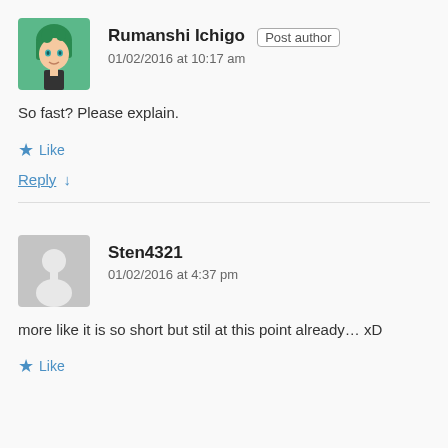[Figure (illustration): Avatar of Rumanshi Ichigo: anime-style character with green hair]
Rumanshi Ichigo  Post author
01/02/2016 at 10:17 am
So fast? Please explain.
★ Like
Reply ↓
[Figure (illustration): Generic grey silhouette avatar placeholder]
Sten4321
01/02/2016 at 4:37 pm
more like it is so short but stil at this point already… xD
★ Like